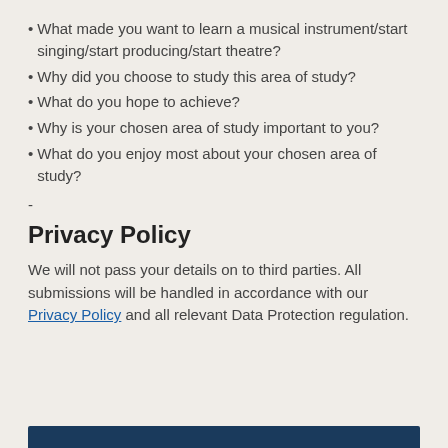What made you want to learn a musical instrument/start singing/start producing/start theatre?
Why did you choose to study this area of study?
What do you hope to achieve?
Why is your chosen area of study important to you?
What do you enjoy most about your chosen area of study?
-
Privacy Policy
We will not pass your details on to third parties. All submissions will be handled in accordance with our Privacy Policy and all relevant Data Protection regulation.